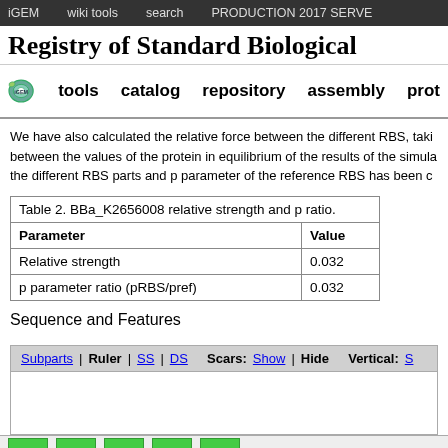iGEM   wiki tools   search   PRODUCTION 2017 SERVER
Registry of Standard Biological
iGEM logo  tools  catalog  repository  assembly  prot
We have also calculated the relative force between the different RBS, taking between the values of the protein in equilibrium of the results of the simula the different RBS parts and p parameter of the reference RBS has been c
| Parameter | Value |
| --- | --- |
| Relative strength | 0.032 |
| p parameter ratio (pRBS/pref) | 0.032 |
Sequence and Features
Subparts | Ruler | SS | DS   Scars: Show | Hide   Vertical: S